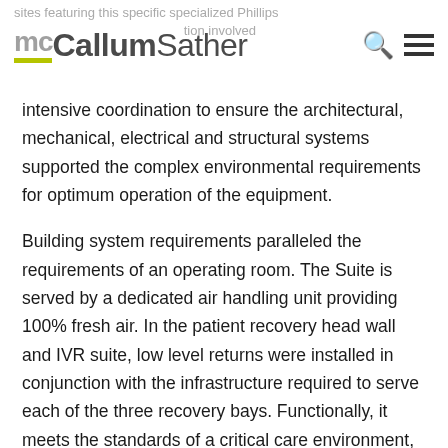mcCallumSather
intensive coordination to ensure the architectural, mechanical, electrical and structural systems supported the complex environmental requirements for optimum operation of the equipment.
Building system requirements paralleled the requirements of an operating room. The Suite is served by a dedicated air handling unit providing 100% fresh air. In the patient recovery head wall and IVR suite, low level returns were installed in conjunction with the infrastructure required to serve each of the three recovery bays. Functionally, it meets the standards of a critical care environment, with a complex network of equipment connected to interlacing tracks across the ceiling that give the room its unique flexibility. Our scope